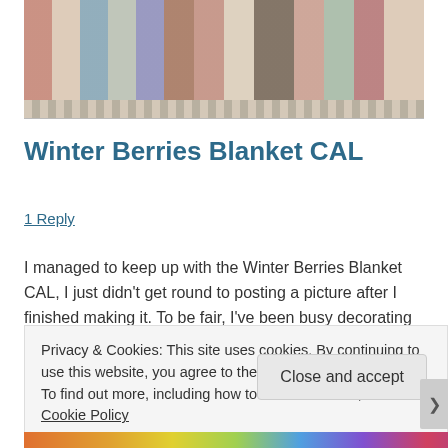[Figure (photo): A crocheted striped blanket with multiple colors including brown, red, blue, green, and cream, laid out on a wooden surface. The blanket has a decorative border.]
Winter Berries Blanket CAL
1 Reply
I managed to keep up with the Winter Berries Blanket CAL, I just didn't get round to posting a picture after I finished making it. To be fair, I've been busy decorating my bedroom, so I haven't had a great deal of spare time!
Privacy & Cookies: This site uses cookies. By continuing to use this website, you agree to their use.
To find out more, including how to control cookies, see here: Cookie Policy
Close and accept